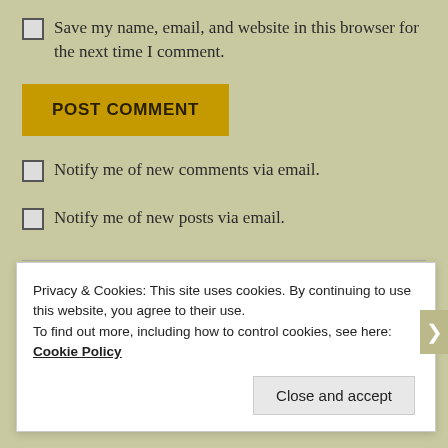Save my name, email, and website in this browser for the next time I comment.
POST COMMENT
Notify me of new comments via email.
Notify me of new posts via email.
PREVIOUS POST
Iligan City extends ECQ until April 30
Privacy & Cookies: This site uses cookies. By continuing to use this website, you agree to their use.
To find out more, including how to control cookies, see here: Cookie Policy
Close and accept